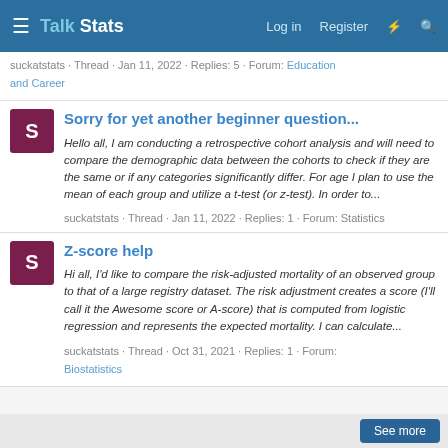Talk Stats — Log in  Register
suckatstats · Thread · Jan 11, 2022 · Replies: 5 · Forum: Education and Career
Sorry for yet another beginner question...
Hello all, I am conducting a retrospective cohort analysis and will need to compare the demographic data between the cohorts to check if they are the same or if any categories significantly differ. For age I plan to use the mean of each group and utilize a t-test (or z-test). In order to...
suckatstats · Thread · Jan 11, 2022 · Replies: 1 · Forum: Statistics
Z-score help
Hi all, I'd like to compare the risk-adjusted mortality of an observed group to that of a large registry dataset. The risk adjustment creates a score (I'll call it the Awesome score or A-score) that is computed from logistic regression and represents the expected mortality. I can calculate...
suckatstats · Thread · Oct 31, 2021 · Replies: 1 · Forum: Biostatistics